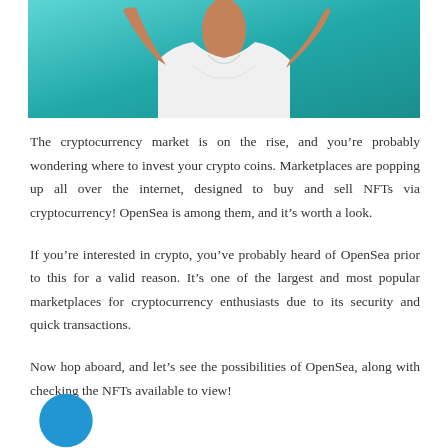[Figure (photo): Partial photo of a person in a white t-shirt with arms raised, against a teal/turquoise background. Only the torso and lower neck area visible.]
The cryptocurrency market is on the rise, and you're probably wondering where to invest your crypto coins. Marketplaces are popping up all over the internet, designed to buy and sell NFTs via cryptocurrency! OpenSea is among them, and it's worth a look.
If you're interested in crypto, you've probably heard of OpenSea prior to this for a valid reason. It's one of the largest and most popular marketplaces for cryptocurrency enthusiasts due to its security and quick transactions.
Now hop aboard, and let's see the possibilities of OpenSea, along with checking the NFTs available to view!
[Figure (illustration): Bottom of a circular blue icon/avatar, partially visible at the bottom of the page.]